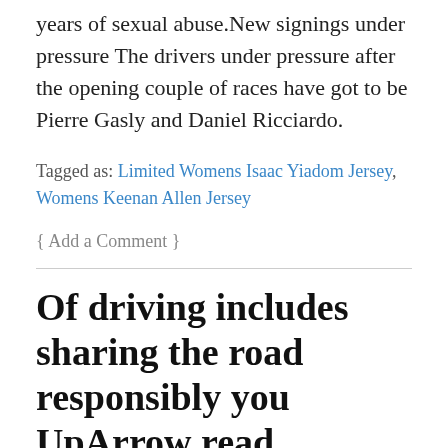years of sexual abuse.New signings under pressure The drivers under pressure after the opening couple of races have got to be Pierre Gasly and Daniel Ricciardo.
Tagged as: Limited Womens Isaac Yiadom Jersey, Womens Keenan Allen Jersey
{ Add a Comment }
Of driving includes sharing the road responsibly you UpArrow read
by admin on November 16, 2019
I've seen the Falcons lose games like this since